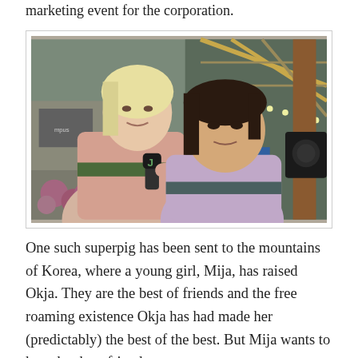marketing event for the corporation.
[Figure (photo): Two women outdoors in an urban setting. One woman with blonde hair wearing a pink top holds a microphone and stands behind a younger Asian woman wearing a lavender hoodie. There are pink flowers and a building structure visible in the background.]
One such superpig has been sent to the mountains of Korea, where a young girl, Mija, has raised Okja. They are the best of friends and the free roaming existence Okja has had made her (predictably) the best of the best. But Mija wants to keep her best friend